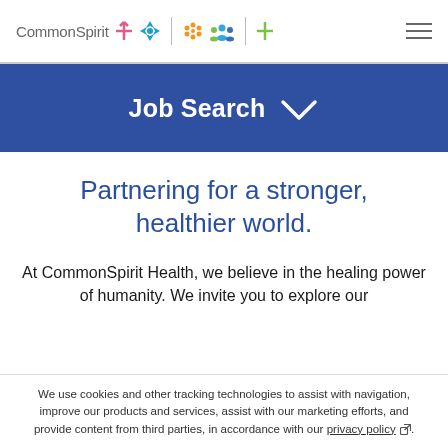CommonSpirit [logo with icons]
Job Search
Partnering for a stronger, healthier world.
At CommonSpirit Health, we believe in the healing power of humanity. We invite you to explore our
We use cookies and other tracking technologies to assist with navigation, improve our products and services, assist with our marketing efforts, and provide content from third parties, in accordance with our privacy policy